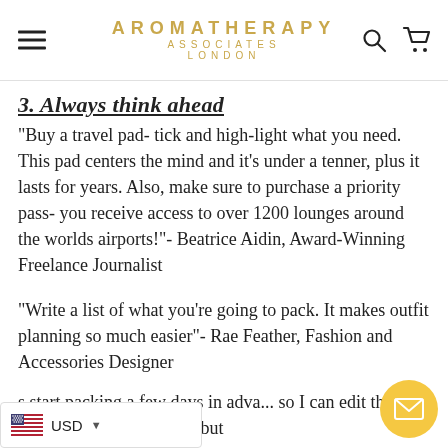AROMATHERAPY ASSOCIATES LONDON
3. Always think ahead
"Buy a travel pad- tick and high-light what you need. This pad centers the mind and it's under a tenner, plus it lasts for years. Also, make sure to purchase a priority pass- you receive access to over 1200 lounges around the worlds airports!"- Beatrice Aidin, Award-Winning Freelance Journalist
"Write a list of what you're going to pack. It makes outfit planning so much easier"- Rae Feather, Fashion and Accessories Designer
s start packing a few days in adva... so I can edit the selection just before I go but